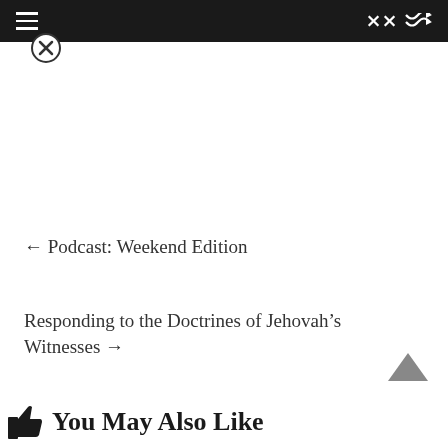≡  ✕
← Podcast: Weekend Edition
Responding to the Doctrines of Jehovah's Witnesses →
You May Also Like